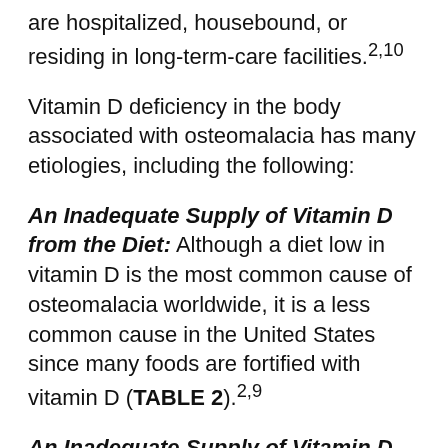are hospitalized, housebound, or residing in long-term-care facilities.2,10
Vitamin D deficiency in the body associated with osteomalacia has many etiologies, including the following:
An Inadequate Supply of Vitamin D from the Diet: Although a diet low in vitamin D is the most common cause of osteomalacia worldwide, it is a less common cause in the United States since many foods are fortified with vitamin D (TABLE 2).2,9
An Inadequate Supply of Vitamin D from Inadequate Sun Exposure: Since sunlight produces vitamin D in the skin, osteomalacia can develop in individuals who spend inadequate time in